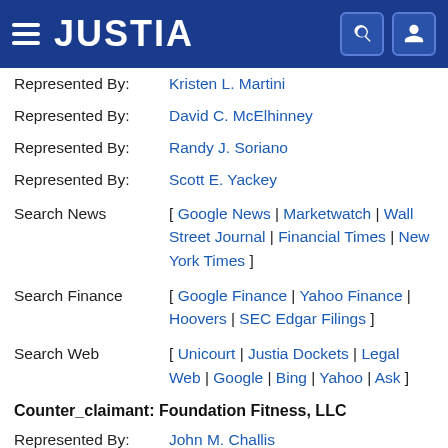JUSTIA
Represented By: Kristen L. Martini
Represented By: David C. McElhinney
Represented By: Randy J. Soriano
Represented By: Scott E. Yackey
Search News [ Google News | Marketwatch | Wall Street Journal | Financial Times | New York Times ]
Search Finance [ Google Finance | Yahoo Finance | Hoovers | SEC Edgar Filings ]
Search Web [ Unicourt | Justia Dockets | Legal Web | Google | Bing | Yahoo | Ask ]
Counter_claimant: Foundation Fitness, LLC
Represented By: John M. Challis
Represented By: Keith I. Grady